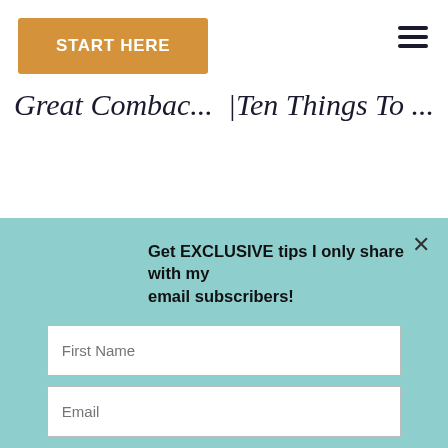[Figure (screenshot): Navigation bar with orange 'START HERE' button and hamburger menu icon]
Great Combac...  Ten Things To ...
Get EXCLUSIVE tips I only share with my email subscribers!
First Name
Email
SIGN ME UP